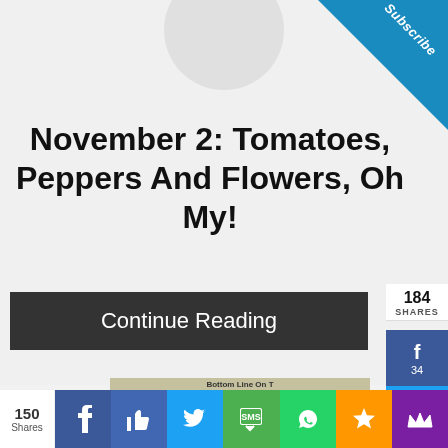November 2: Tomatoes, Peppers And Flowers, Oh My!
Subscribe
Continue Reading
184 SHARES
34
150
[Figure (screenshot): Tomato food image with text 'Bottom Line On Tomato Sampler Challenge' and 'No compatible sources found for this media. Click']
Search for
1. HOMEMADE TOMATO FERTILIZERS
150 Shares
Social share icons row: Facebook, Like, Twitter, SMS, WhatsApp, Star, Crown